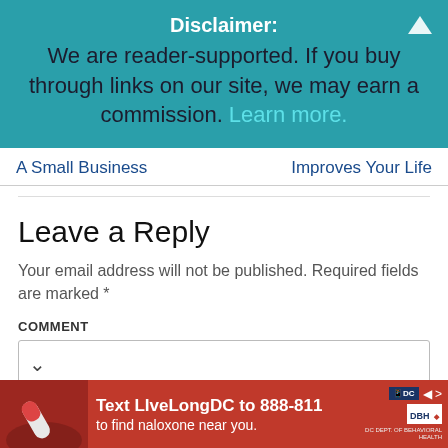Disclaimer:
We are reader-supported. If you buy through links on our site, we may earn a commission. Learn more.
A Small Business    Improves Your Life
Leave a Reply
Your email address will not be published. Required fields are marked *
COMMENT
[Figure (screenshot): Comment text input box with dropdown chevron]
[Figure (infographic): Red advertisement banner: Text LiveLongDC to 888-811 to find naloxone near you. DC and DBH logos visible.]